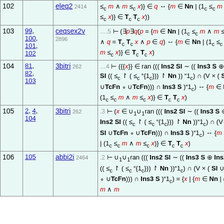| Step | Refs | Theorem | Formula |
| --- | --- | --- | --- |
| 102 |  | eleq2 2414 | ≤c m ∧ m ≤c x)} ∈ q ↔ {m ∈ Nn | (1c ≤c m ∧ m ≤c x)} ∈ Tc Tc x)) |
| 103 | 99, 100, 101, 102 | ceqsex2v 2896 | ....5 ⊢ (∃p∃q(p = {m ∈ Nn | (1c ≤c m ∧ m ≤c x)} ∧ q = Tc Tc x ∧ p ∈ q) ↔ {m ∈ Nn | (1c ≤c m ∧ m ≤c x)} ∈ Tc Tc x) |
| 104 | 81, 82, 103 | 3bitri 262 | ...4 ⊢ ({{x}} ∈ ran ((( Ins2 Sl ~ (( Ins3 S ⊕ Ins2 Sl (( ≤c ↾ ( ≤c "{1c})) ↾ Nn )) "1c) ∩ (V × ( Sl ∪TcFn ∘ ∪TcFn))) ∩ Ins3 S )"1c) ↔ {m ∈ Nn | (1c ≤c m ∧ m ≤c x)} ∈ Tc Tc x) |
| 105 | 2, 4, 104 | 3bitri 262 | ..3 ⊢ (x ∈ ∪1∪1ran ((( Ins2 Sl ~ (( Ins3 S ⊕ Ins2 Sl (( ≤c ↾ ( ≤c "{1c})) ↾ Nn ))"1c) ∩ (V × ( Sl ∪TcFn ∘ ∪TcFn))) ∩ Ins3 S )"1c) ↔ {m ∈ Nn | (1c ≤c m ∧ m ≤c x)} ∈ Tc Tc x) |
| 106 | 105 | abbi2i 2464 | .2 ⊢ ∪1∪1ran ((( Ins2 Sl ~ (( Ins3 S ⊕ Ins2 Sl (( ≤c ↾ ( ≤c "{1c})) ↾ Nn ))"1c) ∩ (V × ( Sl ∪TcFn ∘ ∪TcFn))) ∩ Ins3 S )"1c) = {x | {m ∈ Nn | (1c ≤c m ∧ m... |